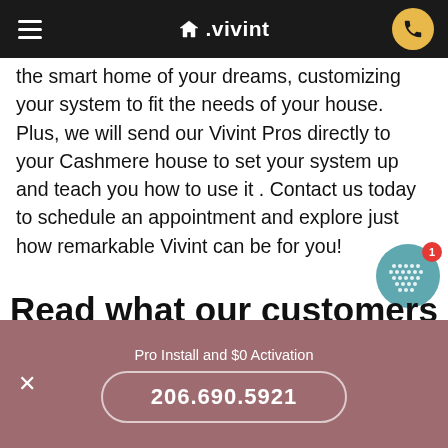vivint
the smart home of your dreams, customizing your system to fit the needs of your house. Plus, we will send our Vivint Pros directly to your Cashmere house to set your system up and teach you how to use it . Contact us today to schedule an appointment and explore just how remarkable Vivint can be for you!
Read what our customers
Pro Install and $0 Activation
206.690.5921